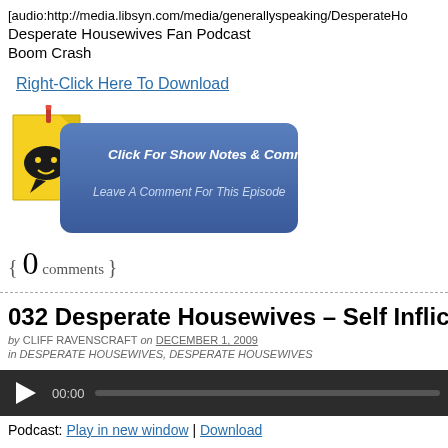[audio:http://media.libsyn.com/media/generallyspeaking/DesperateHo...
Desperate Housewives Fan Podcast
Boom Crash
Right-Click Here To Download
[Figure (illustration): Podcast banner button with yellow sticky note icon and blue rounded rectangle with text 'Click For Show Notes & Comments! Leave A Comment For This Episode']
{ 0 comments }
032 Desperate Housewives – Self Inflicted Woun...
by CLIFF RAVENSCRAFT on DECEMBER 1, 2009
in DESPERATE HOUSEWIVES, DESPERATE HOUSEWIVES
[Figure (screenshot): Audio player bar with play button, 00:00 time, and progress bar]
Podcast: Play in new window | Download